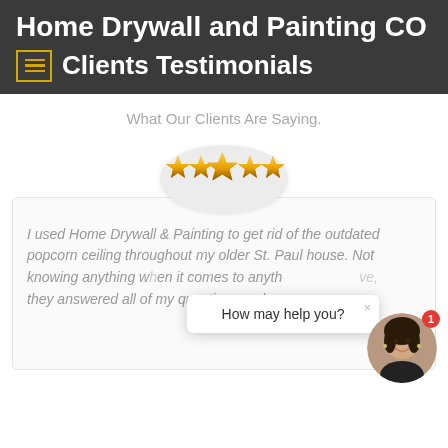Home Drywall and Painting CO
Clients Testimonials
What Our Clients Are Saying.
[Figure (illustration): Five gold stars displayed in an oval light grey background, representing a 5-star rating.]
I used Home Drywall & Painting to get rid of the outdated popcorn ceiling throughout my older St. Paul house. Not knowing anything when it comes to anything like this, they answered all of my questions and concerns they answered all of my questions and concerns
[Figure (screenshot): Chat popup overlay with text 'How may help you?' and a circular avatar photo of a woman smiling, with a red notification badge showing '1'.]